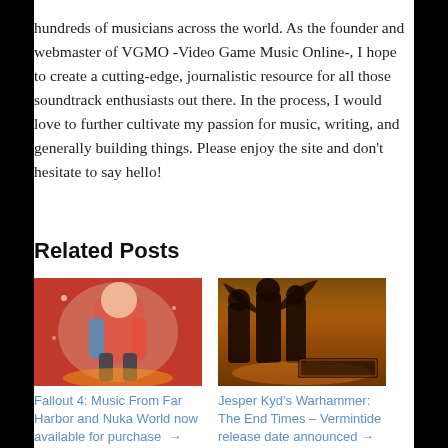hundreds of musicians across the world. As the founder and webmaster of VGMO -Video Game Music Online-, I hope to create a cutting-edge, journalistic resource for all those soundtrack enthusiasts out there. In the process, I would love to further cultivate my passion for music, writing, and generally building things. Please enjoy the site and don't hesitate to say hello!
Related Posts
[Figure (photo): Promotional image for Fallout 4 DLC - colorful action figure style character on red background]
Fallout 4: Music From Far Harbor and Nuka World now available for purchase →
[Figure (photo): Promotional image for Warhammer: The End Times - Vermintide, dark fantasy warriors in battle]
Jesper Kyd's Warhammer: The End Times – Vermintide release date announced →